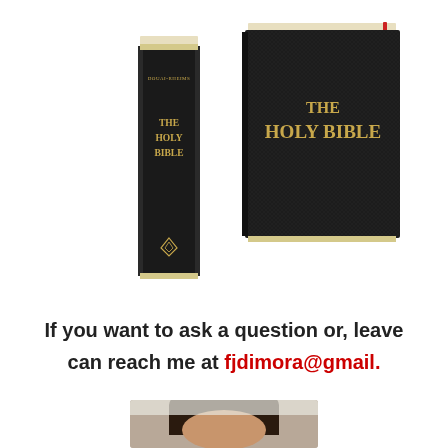[Figure (photo): Two Holy Bible books side by side — left showing spine with text 'DOUAI-RHEIMS THE HOLY BIBLE' in gold, right showing front cover with 'THE HOLY BIBLE' in gold lettering, both with black covers]
If you want to ask a question or, leave can reach me at fjdimora@gmail.
[Figure (photo): Partial photo of a person's head/face, cropped at the top of the page bottom]